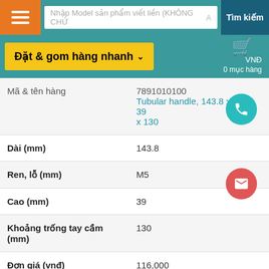Nhập Model sản phẩm viết liền (KHÔNG CHỨA... | Tìm kiếm
Đặt & gom hàng nhanh
|  |  |
| --- | --- |
| Mã & tên hàng | Tubular handle, 143.8 x M5 x 39 x 130 |
| Dài (mm) | 143.8 |
| Ren, lỗ (mm) | M5 |
| Cao (mm) | 39 |
| Khoảng trống tay cầm (mm) | 130 |
| Đơn giá (vnđ) | 116,000 |
| Số lượng | PCE |